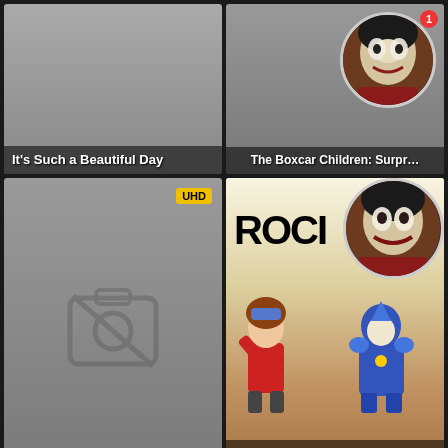[Figure (screenshot): Movie thumbnail for 'It's Such a Beautiful Day' with gray placeholder and title overlay]
[Figure (screenshot): Movie thumbnail for 'The Boxcar Children: Surprise Island' with notification badge and circular avatar of Joker character]
[Figure (screenshot): Movie thumbnail for 'Strange Frame: Love & Sax' with UHD badge and no-photo placeholder icon]
[Figure (screenshot): Movie thumbnail for 'Rockman.EXE: The Program of Light and Darkness' showing anime characters with 'ROCK' text and Joker avatar]
[Figure (screenshot): Gray placeholder thumbnail with 4K badge]
[Figure (screenshot): Gray placeholder thumbnail with 4K badge]